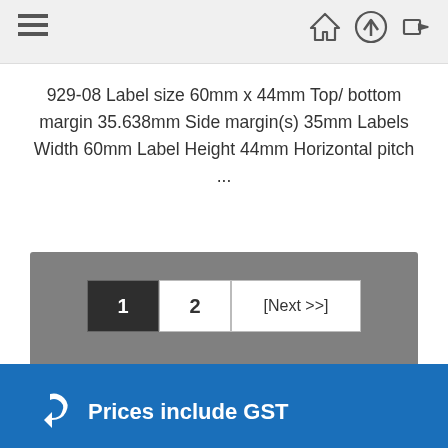Navigation header with hamburger menu, home, up, and login icons
929-08 Label size 60mm x 44mm Top/ bottom margin 35.638mm Side margin(s) 35mm Labels Width 60mm Label Height 44mm Horizontal pitch ...
Displaying 1 to 10 (of 12 results)
Prices include GST